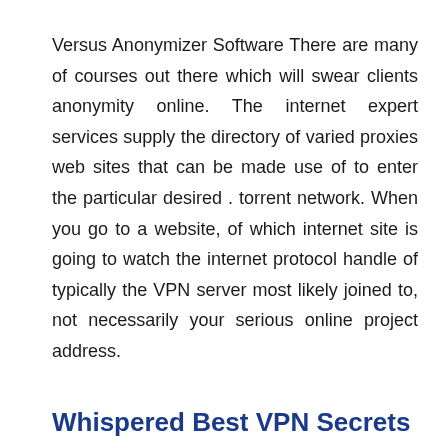Versus Anonymizer Software There are many of courses out there which will swear clients anonymity online. The internet expert services supply the directory of varied proxies web sites that can be made use of to enter the particular desired . torrent network. When you go to a website, of which internet site is going to watch the internet protocol handle of typically the VPN server most likely joined to, not necessarily your serious online project address.
Whispered Best VPN Secrets